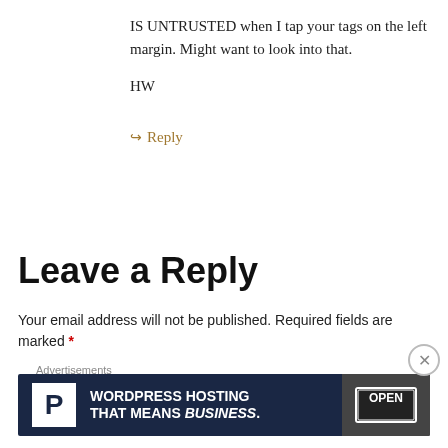IS UNTRUSTED when I tap your tags on the left margin. Might want to look into that.

HW
↳ Reply
Leave a Reply
Your email address will not be published. Required fields are marked *
[Figure (infographic): Advertisement banner for WordPress Hosting that means business, with a P logo and an OPEN sign photo]
Advertisements